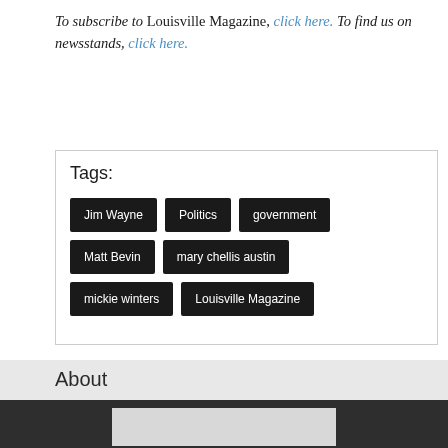To subscribe to Louisville Magazine, click here. To find us on newsstands, click here.
Tags:
Jim Wayne
Politics
government
Matt Bevin
mary chellis austin
mickie winters
Louisville Magazine
About